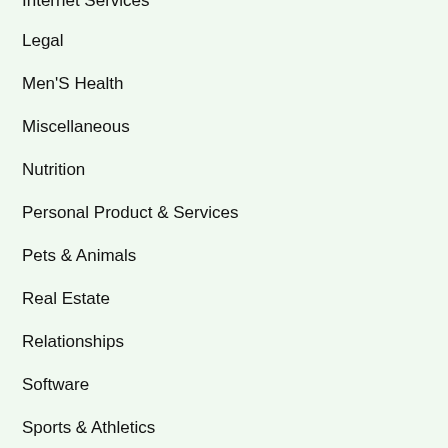Internet Services
Legal
Men'S Health
Miscellaneous
Nutrition
Personal Product & Services
Pets & Animals
Real Estate
Relationships
Software
Sports & Athletics
Technology
Travel
Web Resources